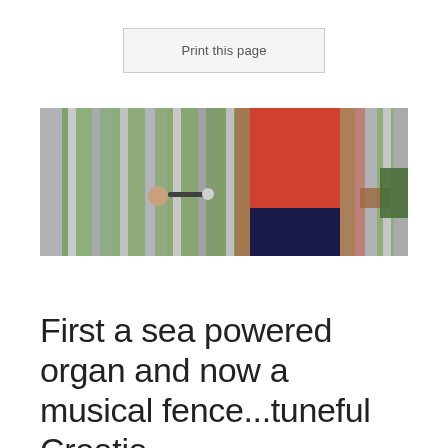Print this page
[Figure (photo): A person in a red shirt playing a metal bar fence/xylophone-like musical instrument with a mallet, viewed through vertical metal bars/rods]
First a sea powered organ and now a musical fence...tuneful Croatia